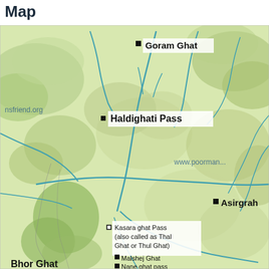Map
[Figure (map): Topographic map showing mountain passes and geographic locations including Goram Ghat, Haldighati Pass, Asirgrah, Kasara ghat Pass (also called as Thal Ghat or Thul Ghat), Malshej Ghat, Nane ghat pass, Bhor Ghat. Watermarks showing nsfriend.org and www.poorman... Website credits visible. Map shows river systems and terrain with green/yellow elevation coloring.]